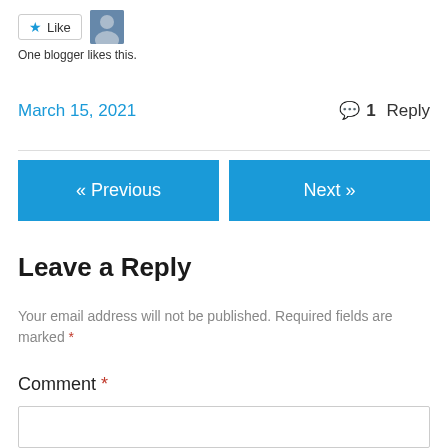[Figure (other): Like button with star icon and a user avatar photo thumbnail]
One blogger likes this.
March 15, 2021
1 Reply
« Previous
Next »
Leave a Reply
Your email address will not be published. Required fields are marked *
Comment *